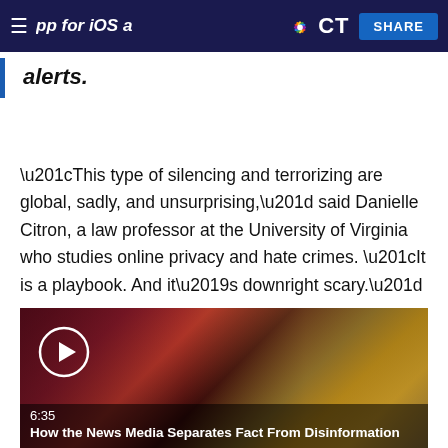app for iOS and Android and place alerts. | CT | SHARE
alerts.
“This type of silencing and terrorizing are global, sadly, and unsurprising,” said Danielle Citron, a law professor at the University of Virginia who studies online privacy and hate crimes. “It is a playbook. And it’s downright scary.”
[Figure (photo): Video thumbnail showing a person holding a smartphone, with a play button overlay, duration 6:35, and caption 'How the News Media Separates Fact From Disinformation in Ukraine']
6:35
How the News Media Separates Fact From Disinformation in Ukraine